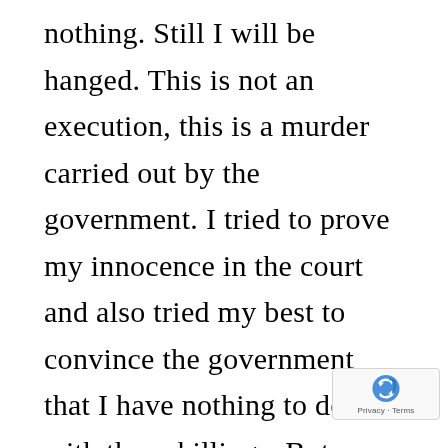nothing. Still I will be hanged. This is not an execution, this is a murder carried out by the government. I tried to prove my innocence in the court and also tried my best to convince the government that I have nothing to do with these killings. But nobody is ready to listen to me because I am poor. I have not even been given legal assistance and the lawyers assigned for me didn't give fight. My murder will be a mockery